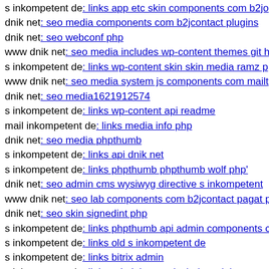s inkompetent de: links app etc skin components com b2jc...
dnik net: seo media components com b2jcontact plugins
dnik net: seo webconf php
www dnik net: seo media includes wp-content themes git h...
s inkompetent de: links wp-content skin skin media ramz p...
www dnik net: seo media system js components com mailt...
dnik net: seo media1621912574
s inkompetent de: links wp-content api readme
mail inkompetent de: links media info php
dnik net: seo media phpthumb
s inkompetent de: links api dnik net
s inkompetent de: links phpthumb phpthumb wolf php'
dnik net: seo admin cms wysiwyg directive s inkompetent...
www dnik net: seo lab components com b2jcontact pagat p...
dnik net: seo skin signedint php
s inkompetent de: links phpthumb api admin components c...
s inkompetent de: links old s inkompetent de
s inkompetent de: links bitrix admin
s inkompetent de: links administrator includes s inkompete...
s inkompetent de: links wp-content api components com b...
dnik net: seo wp-content plugins candidate application for...